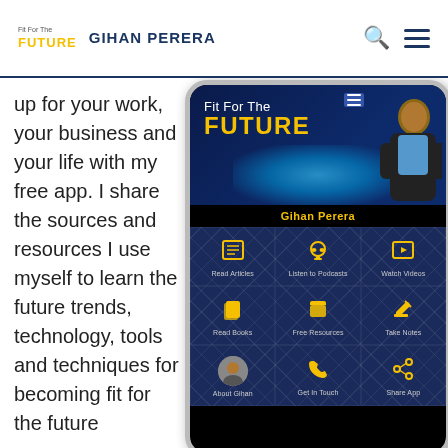Fit For The FUTURE | GIHAN PERERA
up for your work, your business and your life with my free app. I share the sources and resources I use myself to learn the future trends, technology, tools and techniques for becoming fit for the future
[Figure (screenshot): Screenshot of the Fit For The Future mobile app by Gihan Perera, showing a smartphone with the app's home screen. The banner shows 'Fit For The Future' with Gihan Perera's photo and name. Below are six menu icons: Read Articles, Listen to Podcasts, Watch Videos, Read Books, Free Resources, Take Notes, and a third row with About Gihan, Get In Touch, Share App.]